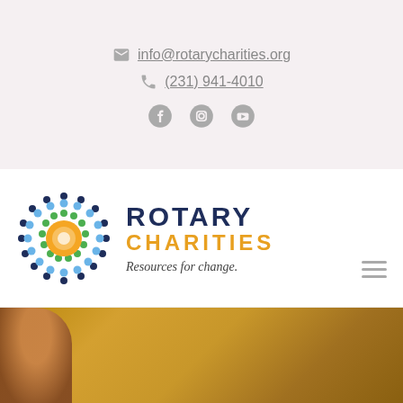info@rotarycharities.org
(231) 941-4010
[Figure (logo): Rotary Charities logo with decorative circular emblem made of colored dots (blue, green, orange) surrounding an orange sunburst center. Text reads ROTARY CHARITIES with tagline 'Resources for change.']
[Figure (photo): Blurred golden/amber background hero image with partial view of a person on the left edge]